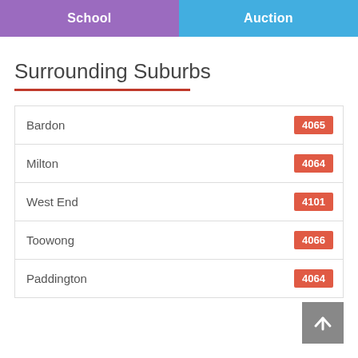School | Auction
Surrounding Suburbs
| Suburb | Postcode |
| --- | --- |
| Bardon | 4065 |
| Milton | 4064 |
| West End | 4101 |
| Toowong | 4066 |
| Paddington | 4064 |